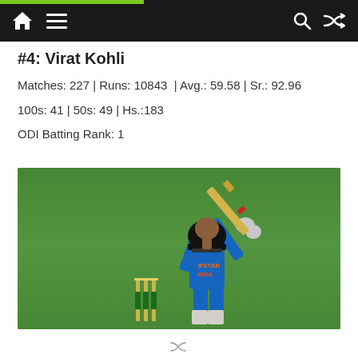Navigation bar with home, menu, search, and shuffle icons
#4: Virat Kohli
Matches: 227 | Runs: 10843  | Avg.: 59.58 | Sr.: 92.96
100s: 41 | 50s: 49 | Hs.:183
ODI Batting Rank: 1
[Figure (photo): Virat Kohli playing a cricket shot in blue India ODI kit, bat raised high, wearing a black helmet, with stumps visible in the background on a green field.]